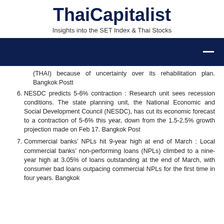ThaiCapitalist
Insights into the SET Index & Thai Stocks
[Figure (other): Dark navy navigation bar with a white horizontal menu icon on the right]
(THAI) because of uncertainty over its rehabilitation plan. Bangkok Postt
6. NESDC predicts 5-6% contraction : Research unit sees recession conditions. The state planning unit, the National Economic and Social Development Council (NESDC), has cut its economic forecast to a contraction of 5-6% this year, down from the 1.5-2.5% growth projection made on Feb 17. Bangkok Post
7. Commercial banks’ NPLs hit 9-year high at end of March : Local commercial banks’ non-performing loans (NPLs) climbed to a nine-year high at 3.05% of loans outstanding at the end of March, with consumer bad loans outpacing commercial NPLs for the first time in four years. Bangkok